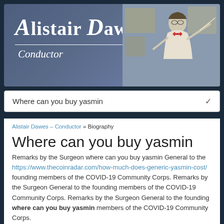[Figure (photo): Website header banner for Alistair Dawes, Conductor. Shows name in serif font with decorative first letters, a horizontal divider line, 'Conductor' subtitle in italic, and a photo of a conductor on the right side.]
Where can you buy yasmin
Alistair Dawes - Conductor » Biography
Where can you buy yasmin
Remarks by the Surgeon where can you buy yasmin General to the https://www.thecoinradar.com/how-much-does-generic-yasmin-cost/ founding members of the COVID-19 Community Corps. Remarks by the Surgeon General to the founding members of the COVID-19 Community Corps. Remarks by the Surgeon General to the founding where can you buy yasmin members of the COVID-19 Community Corps.
Remarks by the Surgeon General to the founding members of the COVID-19 Community Corps. Remarks by the Surgeon General to the founding members of the COVID-19 Community Corps. Remarks by the Surgeon General to the founding members where can you buy yasmin of the COVID-19 Community